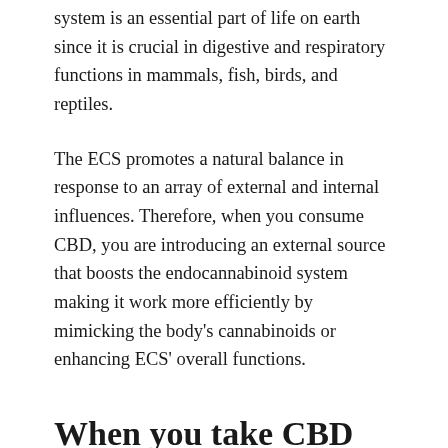system is an essential part of life on earth since it is crucial in digestive and respiratory functions in mammals, fish, birds, and reptiles.
The ECS promotes a natural balance in response to an array of external and internal influences. Therefore, when you consume CBD, you are introducing an external source that boosts the endocannabinoid system making it work more efficiently by mimicking the body's cannabinoids or enhancing ECS' overall functions.
When you take CBD capsules, you can experience the following